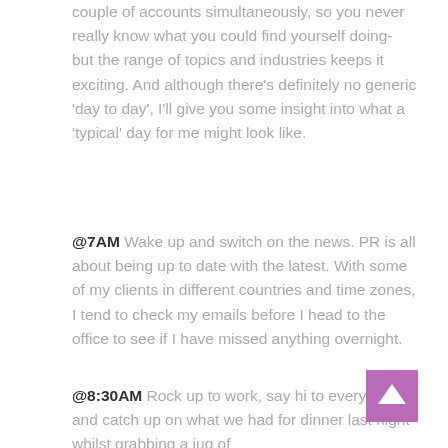couple of accounts simultaneously, so you never really know what you could find yourself doing- but the range of topics and industries keeps it exciting. And although there's definitely no generic 'day to day', I'll give you some insight into what a 'typical' day for me might look like.
@7AM Wake up and switch on the news. PR is all about being up to date with the latest. With some of my clients in different countries and time zones, I tend to check my emails before I head to the office to see if I have missed anything overnight.
@8:30AM Rock up to work, say hi to everyone and catch up on what we had for dinner last night whilst grabbing a jug of
[Figure (other): Purple/mauve square button with a white upward-pointing chevron arrow (back to top button)]